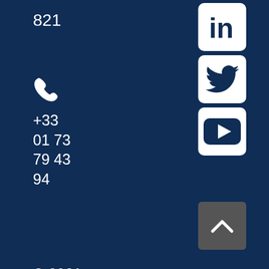821
+33 01 73 79 43 94
© 2021 WeCo-Toilet
[Figure (logo): LinkedIn logo icon - white 'in' text on white rounded square with dark blue border]
[Figure (logo): Twitter bird logo - dark blue bird silhouette on white rounded square]
[Figure (logo): YouTube play button logo - dark blue play triangle on white rounded rectangle]
[Figure (other): Back to top button - dark grey square with white upward chevron arrow]